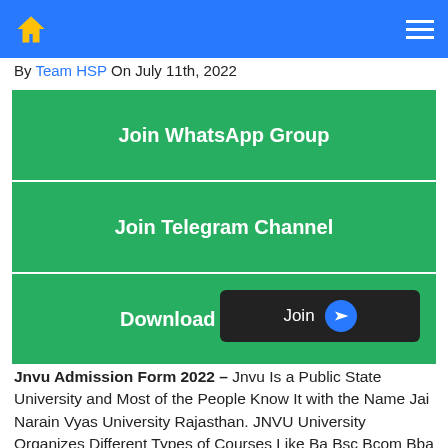Home | Menu
By Team HSP On July 11th, 2022
Join WhatsApp Group
Join Telegram Channel
Download Mobile App
Join
Jnvu Admission Form 2022 – Jnvu Is a Public State University and Most of the People Know It with the Name Jai Narain Vyas University Rajasthan. JNVU University Organizes Different Types of Courses Like Ba Bsc Bcom Bba Bca, Ba Llb, Bba Llb, D Forma, B Forma. Students Who Want to Take Admission in the First Year. Then Student Can Fill the Form Between July 2022 . After That Merit List Will Be Issued on the Basis of 12 Marks If Your